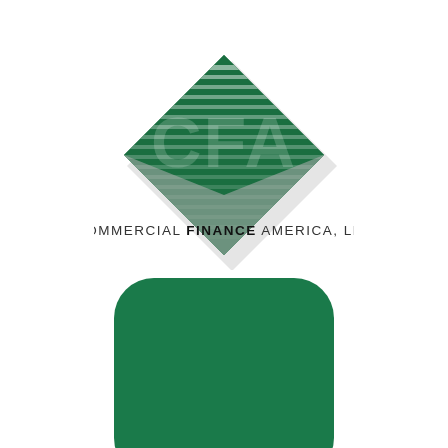[Figure (logo): CFA Commercial Finance America, LLC diamond logo with green and white horizontal stripes inside a diamond shape, with grey shadow. Text reads COMMERCIAL FINANCE AMERICA, LLC below the diamond.]
Login/Sign up
[Figure (other): Dark green rounded rectangle button at the bottom of the page, partially cut off.]